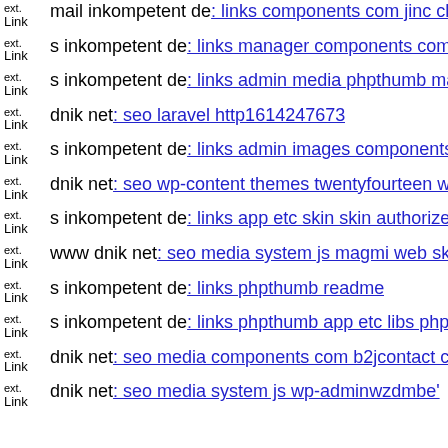ext. Link  mail inkompetent de: links components com jinc classes grap...
ext. Link  s inkompetent de: links manager components com foxcontact li...
ext. Link  s inkompetent de: links admin media phpthumb mail inkompet...
ext. Link  dnik net: seo laravel http1614247673
ext. Link  s inkompetent de: links admin images components com flexico...
ext. Link  dnik net: seo wp-content themes twentyfourteen web ramz php
ext. Link  s inkompetent de: links app etc skin skin authorize old php
ext. Link  www dnik net: seo media system js magmi web skin media sys...
ext. Link  s inkompetent de: links phpthumb readme
ext. Link  s inkompetent de: links phpthumb app etc libs phpthumb boggy...
ext. Link  dnik net: seo media components com b2jcontact components co...
ext. Link  dnik net: seo media system js wp-adminwzdmbe'